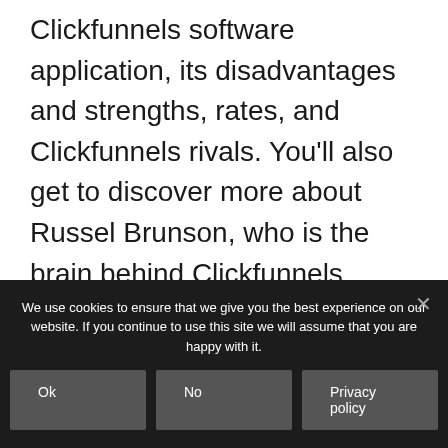Clickfunnels software application, its disadvantages and strengths, rates, and Clickfunnels rivals. You'll also get to discover more about Russel Brunson, who is the brain behind Clickfunnels. Please keep reading.
[Figure (other): Blue call-to-action button reading GET CLICKFUNNELS FREE 14-DAY TRIAL!]
We use cookies to ensure that we give you the best experience on our website. If you continue to use this site we will assume that you are happy with it.